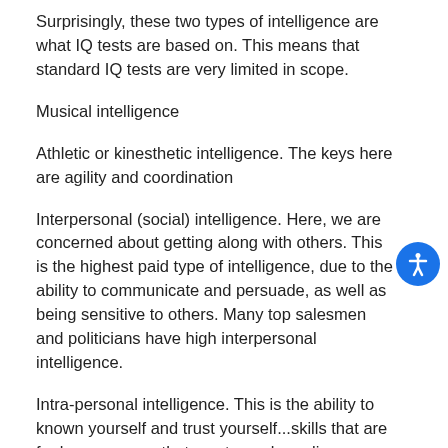Surprisingly, these two types of intelligence are what IQ tests are based on. This means that standard IQ tests are very limited in scope.
Musical intelligence
Athletic or kinesthetic intelligence. The keys here are agility and coordination
Interpersonal (social) intelligence. Here, we are concerned about getting along with others. This is the highest paid type of intelligence, due to the ability to communicate and persuade, as well as being sensitive to others. Many top salesmen and politicians have high interpersonal intelligence.
Intra-personal intelligence. This is the ability to known yourself and trust yourself...skills that are far less common that most people realize.
Artistic intelligence. Performers, painters, writers...those who create stuff for others.
Visual/Spatial intelligence. This refers to the ability to...